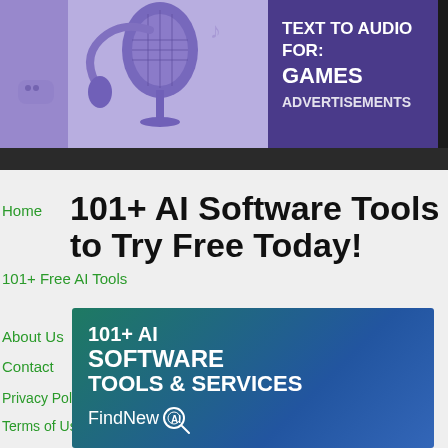[Figure (illustration): Top banner with purple illustration of microphone, headphones, game controller on left; dark purple panel on right with text 'TEXT TO AUDIO FOR: GAMES ADVERTISEMENTS']
TEXT TO AUDIO FOR:
GAMES
ADVERTISEMENTS
101+ AI Software Tools to Try Free Today!
Home
101+ Free AI Tools
About Us
Contact
Privacy Policy
Terms of Use
Disclaimer
[Figure (logo): Promotional banner with text '101+ AI SOFTWARE TOOLS & SERVICES' and 'FindNewAI' branding on teal-to-blue gradient background]